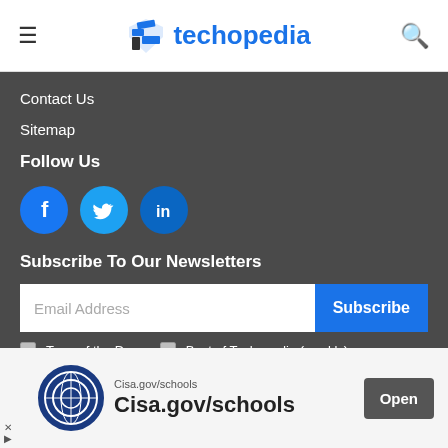techopedia
Contact Us
Sitemap
Follow Us
[Figure (illustration): Social media icons: Facebook, Twitter, LinkedIn as blue circles]
Subscribe To Our Newsletters
Email Address | Subscribe
Term of the Day   Best of Techopedia (weekly)
[Figure (illustration): Advertisement banner for Cisa.gov/schools with logo and Open button]